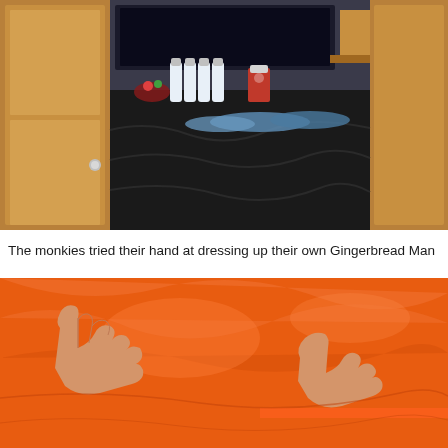[Figure (photo): Indoor scene showing a table covered with a black tablecloth, with water bottles, a red Starbucks cup, and blue disc-shaped items on top. Wooden paneling and doors visible in the background.]
The monkies tried their hand at dressing up their own Gingerbread Man
[Figure (photo): Close-up of hands working with orange fabric or material, showing fingers manipulating or sewing the material.]